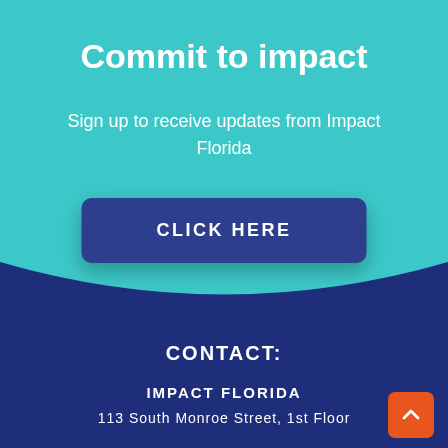Commit to impact
Sign up to receive updates from Impact Florida
CLICK HERE
CONTACT:
IMPACT FLORIDA
113 South Monroe Street, 1st Floor